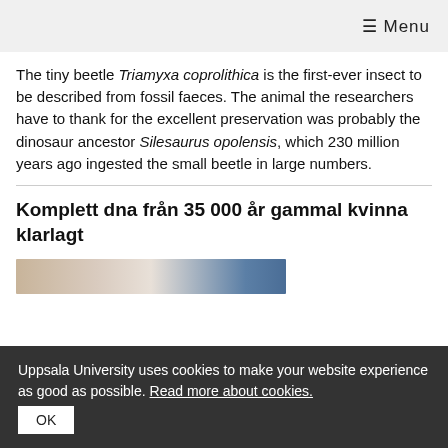≡ Menu
The tiny beetle Triamyxa coprolithica is the first-ever insect to be described from fossil faeces. The animal the researchers have to thank for the excellent preservation was probably the dinosaur ancestor Silesaurus opolensis, which 230 million years ago ingested the small beetle in large numbers.
Komplett dna från 35 000 år gammal kvinna klarlagt
[Figure (photo): Partial view of an article image showing a face/skull, cropped at the bottom of the page]
Uppsala University uses cookies to make your website experience as good as possible. Read more about cookies.